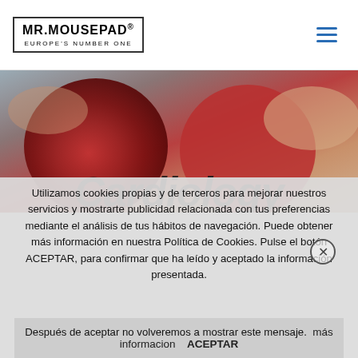MR.MOUSEPAD® EUROPE'S NUMBER ONE
[Figure (photo): Hero banner showing red heart-shaped objects being held by hands, with 'Cardiology' text overlay in dark italic font]
Utilizamos cookies propias y de terceros para mejorar nuestros servicios y mostrarte publicidad relacionada con tus preferencias mediante el análisis de tus hábitos de navegación. Puede obtener más información en nuestra Política de Cookies. Pulse el botón ACEPTAR, para confirmar que ha leído y aceptado la información presentada. Después de aceptar no volveremos a mostrar este mensaje.
más informacion   ACEPTAR